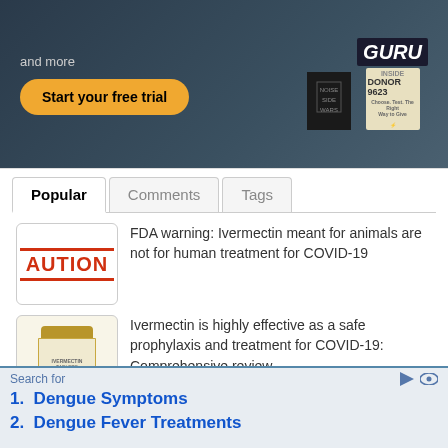[Figure (screenshot): Ad banner with dark background showing 'Start your free trial' button and book covers including GURU and DONOR 9623]
[Figure (screenshot): Tab navigation with Popular (active), Comments, and Tags tabs]
[Figure (photo): AUTION caution warning label image thumbnail]
FDA warning: Ivermectin meant for animals are not for human treatment for COVID-19
[Figure (photo): Pill bottle of Ivermectin thumbnail]
Ivermectin is highly effective as a safe prophylaxis and treatment for COVID-19: Comprehensive review
[Figure (photo): Blue-toned microscopy or illustration image thumbnail]
Lyme discovery: Borrelia bacteria hides inside parasitic worms,
Search for
1.  Dengue Symptoms
2.  Dengue Fever Treatments